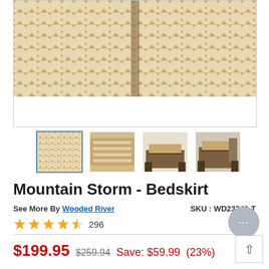[Figure (photo): Close-up of Mountain Storm Bedskirt fabric showing chevron/zigzag pattern in tan and cream colors with a center pleat]
[Figure (photo): Four thumbnail images of the Mountain Storm Bedskirt product: fabric detail (selected), flat fabric shot, full bed view, bedroom scene]
Mountain Storm - Bedskirt
See More By Wooded River   SKU : WD23240-T
★★★★½  296
$199.95  $259.94  Save: $59.99  (23%)